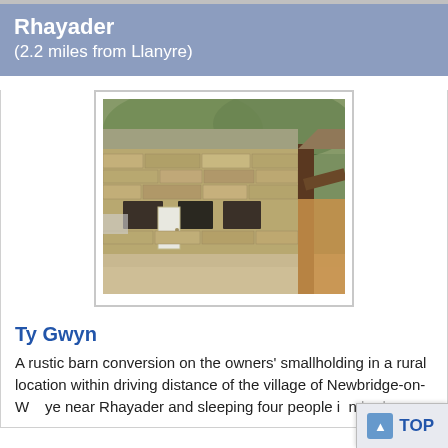Rhayader
(2.2 miles from Llanyre)
[Figure (photo): Exterior photo of Ty Gwyn, a rustic stone barn conversion with a white door, brown timber framing on the right side, and trees behind the building.]
Ty Gwyn
A rustic barn conversion on the owners' smallholding in a rural location within driving distance of the village of Newbridge-on-Wye near Rhayader and sleeping four people in bedrooms